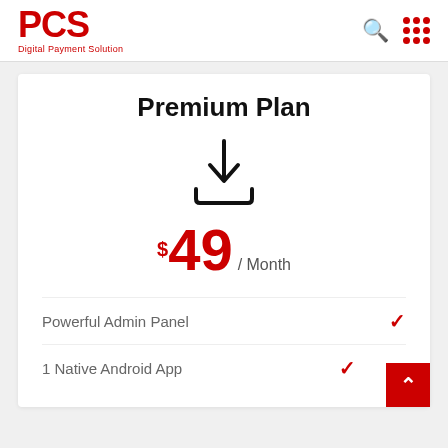[Figure (logo): PCS Digital Payment Solution logo in red]
Premium Plan
[Figure (illustration): Download/tray icon in black outline]
$49 / Month
Powerful Admin Panel ✓
1 Native Android App ✓